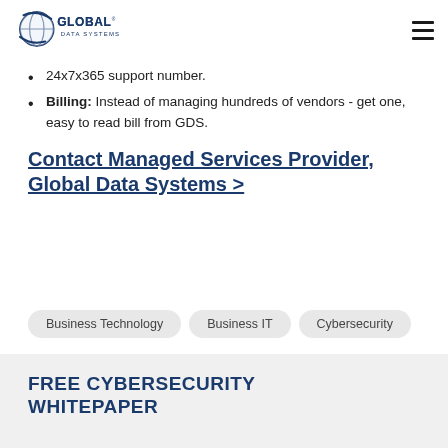Global Data Systems
24x7x365 support number.
Billing: Instead of managing hundreds of vendors - get one, easy to read bill from GDS.
Contact Managed Services Provider, Global Data Systems >
Business Technology
Business IT
Cybersecurity
FREE CYBERSECURITY WHITEPAPER